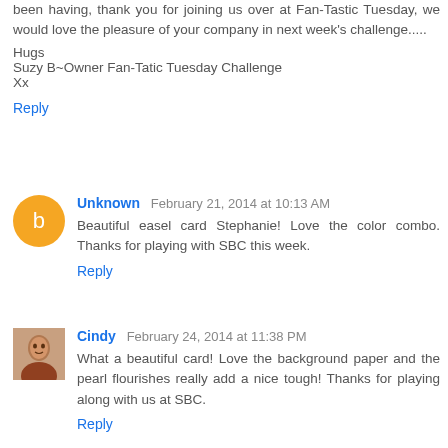been having, thank you for joining us over at Fan-Tastic Tuesday, we would love the pleasure of your company in next week's challenge.....
Hugs
Suzy B~Owner Fan-Tatic Tuesday Challenge
Xx
Reply
Unknown  February 21, 2014 at 10:13 AM
Beautiful easel card Stephanie! Love the color combo. Thanks for playing with SBC this week.
Reply
Cindy  February 24, 2014 at 11:38 PM
What a beautiful card! Love the background paper and the pearl flourishes really add a nice tough! Thanks for playing along with us at SBC.
Reply